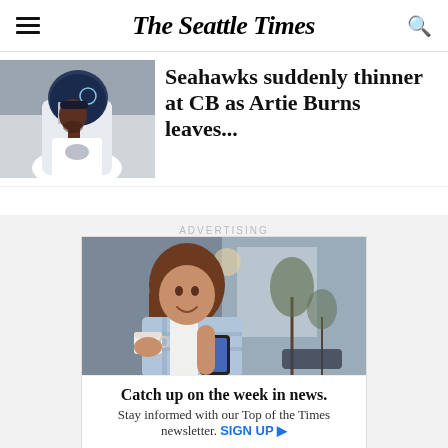The Seattle Times
[Figure (photo): Seattle Seahawks player in uniform and helmet, profile view]
Seahawks suddenly thinner at CB as Artie Burns leaves...
ADVERTISING
[Figure (photo): Advertisement photo: woman smiling holding coffee cup and phone]
Catch up on the week in news. Stay informed with our Top of the Times newsletter. SIGN UP ▶
[Figure (logo): The Seattle Times logo in ad footer]